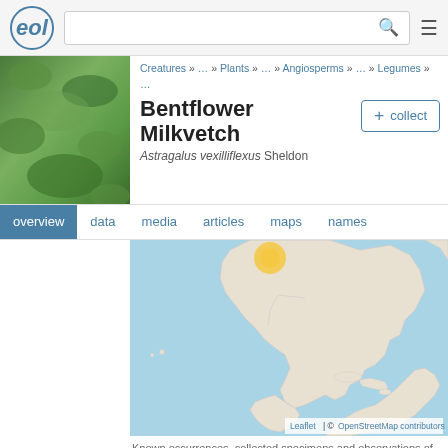EOL | [search] | menu
Creatures » … » Plants » … » Angiosperms » … » Legumes » …
Bentflower Milkvetch
Astragalus vexilliflexus Sheldon
[Figure (map): Geographic distribution map showing North and South America with an occurrence cluster (yellow dot) near the northwestern United States. Map attributed to Leaflet | © OpenStreetMap contributors.]
Known occurrences, collected specimens and observations of bentflower milkvetch. View this species on GBIF ↗
bentflower milkvetch includes 1 child: